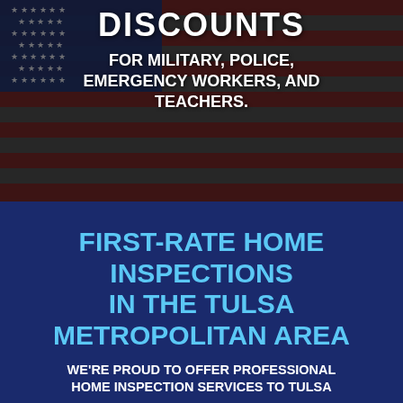[Figure (photo): American flag photo used as background for the top section of the advertisement]
DISCOUNTS
FOR MILITARY, POLICE, EMERGENCY WORKERS, AND TEACHERS.
FIRST-RATE HOME INSPECTIONS IN THE TULSA METROPOLITAN AREA
WE'RE PROUD TO OFFER PROFESSIONAL HOME INSPECTION SERVICES TO TULSA